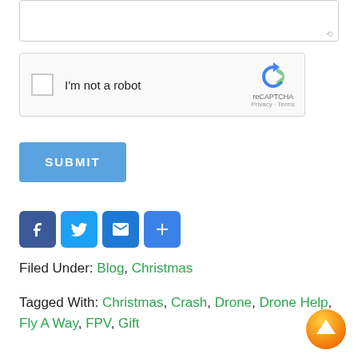[Figure (screenshot): Textarea input box with resize handle at bottom right]
[Figure (screenshot): reCAPTCHA widget with checkbox 'I'm not a robot' and reCAPTCHA logo]
[Figure (screenshot): Blue SUBMIT button]
[Figure (screenshot): Social share icons: Facebook, Twitter, Email, Share (plus)]
Filed Under: Blog, Christmas
Tagged With: Christmas, Crash, Drone, Drone Help, Fly A Way, FPV, Gift
[Figure (screenshot): Orange circular back-to-top button with up arrow]